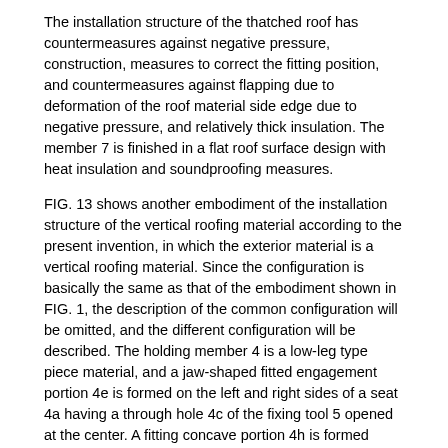The installation structure of the thatched roof has countermeasures against negative pressure, construction, measures to correct the fitting position, and countermeasures against flapping due to deformation of the roof material side edge due to negative pressure, and relatively thick insulation. The member 7 is finished in a flat roof surface design with heat insulation and soundproofing measures.
FIG. 13 shows another embodiment of the installation structure of the vertical roofing material according to the present invention, in which the exterior material is a vertical roofing material. Since the configuration is basically the same as that of the embodiment shown in FIG. 1, the description of the common configuration will be omitted, and the different configuration will be described. The holding member 4 is a low-leg type piece material, and a jaw-shaped fitted engagement portion 4e is formed on the left and right sides of a seat 4a having a through hole 4c of the fixing tool 5 opened at the center. A fitting concave portion 4h is formed below the fitted engagement portion 4e, and a lower leg portion is formed from the lower end of the left and right rotation restricting rising portion 4f.